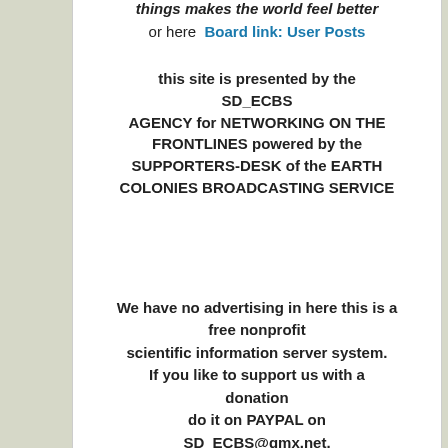things makes the world feel better
or here  Board link: User Posts
this site is presented by the SD_ECBS AGENCY for NETWORKING ON THE FRONTLINES powered by the SUPPORTERS-DESK of the EARTH COLONIES BROADCASTING SERVICE
We have no advertising in here this is a free nonprofit scientific information server system. If you like to support us with a donation do it on PAYPAL on SD_ECBS@gmx.net.
WOW the UFO-Enlightenment-Tour for Dummies! click on the picture please for full information service in the facebook comment-feed.